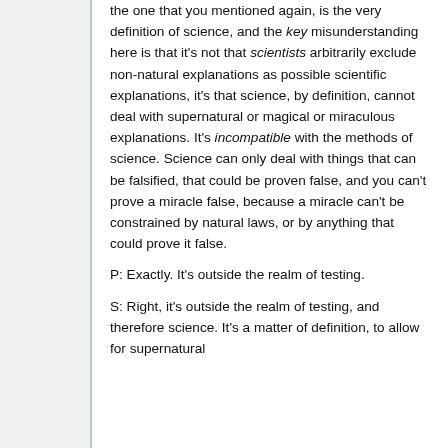the one that you mentioned again, is the very definition of science, and the key misunderstanding here is that it's not that scientists arbitrarily exclude non-natural explanations as possible scientific explanations, it's that science, by definition, cannot deal with supernatural or magical or miraculous explanations. It's incompatible with the methods of science. Science can only deal with things that can be falsified, that could be proven false, and you can't prove a miracle false, because a miracle can't be constrained by natural laws, or by anything that could prove it false.
P: Exactly. It's outside the realm of testing.
S: Right, it's outside the realm of testing, and therefore science. It's a matter of definition, to allow for supernatural